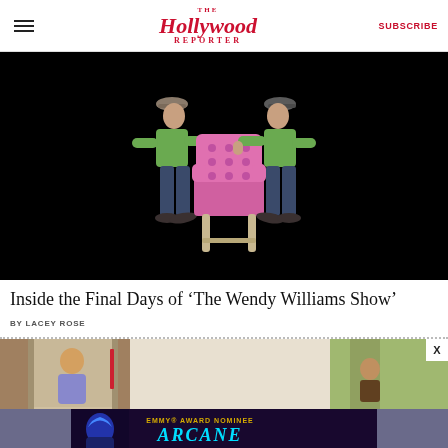The Hollywood Reporter | SUBSCRIBE
[Figure (photo): Two men in green shirts and dark pants carrying a pink tufted armchair against a black background]
Inside the Final Days of ‘The Wendy Williams Show’
BY LACEY ROSE
[Figure (photo): Partial image of a person in a doorway, outdoor scene]
[Figure (advertisement): EMMY AWARD NOMINEE - ARCANE - OUTSTANDING ANIMATED PROGRAM - LEAGUE OF LEGENDS - Netflix ad banner with blue-haired animated character]